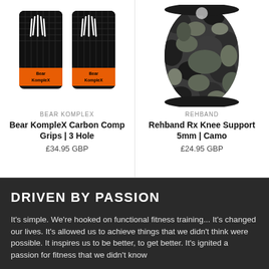[Figure (photo): Bear KompleX Carbon Comp Grips product image - two black carbon fiber hand grips with white bear claw logos and orange wrist straps with 'Bear KompleX' branding]
BEAR KOMPLEX
Bear KompleX Carbon Comp Grips | 3 Hole
£34.95 GBP
[Figure (photo): Rehband Rx Knee Support product image - camo patterned neoprene knee sleeve in green/grey camouflage pattern]
REHBAND
Rehband Rx Knee Support 5mm | Camo
£24.95 GBP
DRIVEN BY PASSION
It's simple.  We're hooked on functional fitness training... It's changed our lives.  It's allowed us to achieve things that we didn't think were possible. It inspires us to be better, to get better.  It's ignited a passion for fitness that we didn't know existed. It's this passion that drives this business.